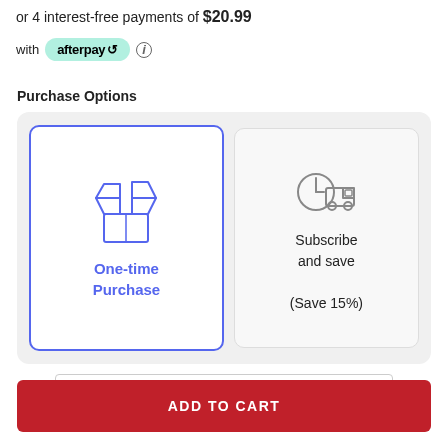or 4 interest-free payments of $20.99
[Figure (logo): Afterpay logo badge in mint green pill shape with 'afterpay' text and double arrow symbol, followed by an info icon]
Purchase Options
[Figure (infographic): Purchase options selector with two cards: 'One-time Purchase' (selected, blue border, blue open box icon) and 'Subscribe and save (Save 15%)' (unselected, gray delivery truck/clock icon)]
1
ADD TO CART